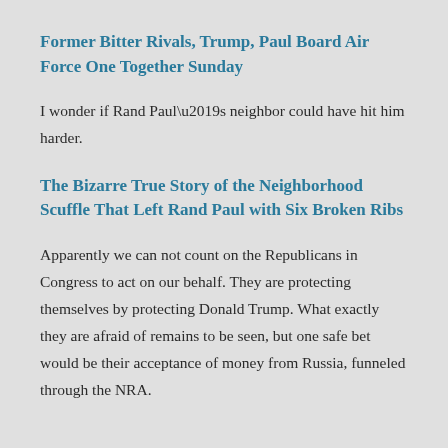Former Bitter Rivals, Trump, Paul Board Air Force One Together Sunday
I wonder if Rand Paul’s neighbor could have hit him harder.
The Bizarre True Story of the Neighborhood Scuffle That Left Rand Paul with Six Broken Ribs
Apparently we can not count on the Republicans in Congress to act on our behalf. They are protecting themselves by protecting Donald Trump. What exactly they are afraid of remains to be seen, but one safe bet would be their acceptance of money from Russia, funneled through the NRA.